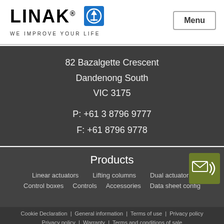[Figure (logo): LINAK logo with blue anchor/up-arrow icon and tagline WE IMPROVE YOUR LIFE]
Menu
82 Bazalgette Crescent
Dandenong South
VIC 3175

P: +61 3 8796 9777
F: +61 8796 9778
Products
Linear actuators
Lifting columns
Dual actuators
Control boxes
Controls
Accessories
Data sheet config
Cookie Declaration  |  General information  |  Terms of use  |  Privacy policy  |  Warranty  |  Terms and conditions of sale